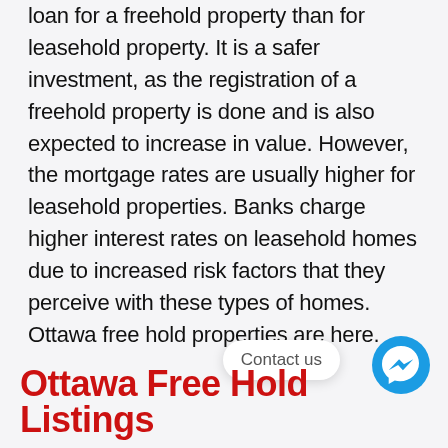loan for a freehold property than for leasehold property. It is a safer investment, as the registration of a freehold property is done and is also expected to increase in value. However, the mortgage rates are usually higher for leasehold properties. Banks charge higher interest rates on leasehold homes due to increased risk factors that they perceive with these types of homes. Ottawa free hold properties are here.
Contact us
Ottawa Free Hold Listings